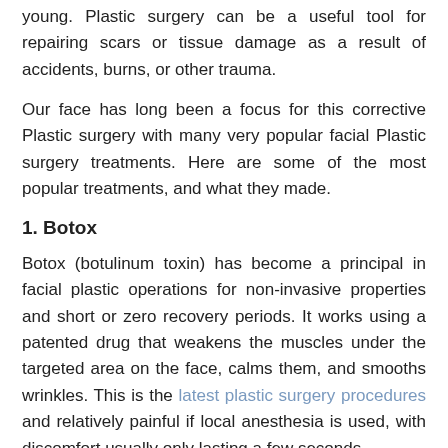young. Plastic surgery can be a useful tool for repairing scars or tissue damage as a result of accidents, burns, or other trauma.
Our face has long been a focus for this corrective Plastic surgery with many very popular facial Plastic surgery treatments. Here are some of the most popular treatments, and what they made.
1. Botox
Botox (botulinum toxin) has become a principal in facial plastic operations for non-invasive properties and short or zero recovery periods. It works using a patented drug that weakens the muscles under the targeted area on the face, calms them, and smooths wrinkles. This is the latest plastic surgery procedures and relatively painful if local anesthesia is used, with discomfort usually only lasting a few seconds.